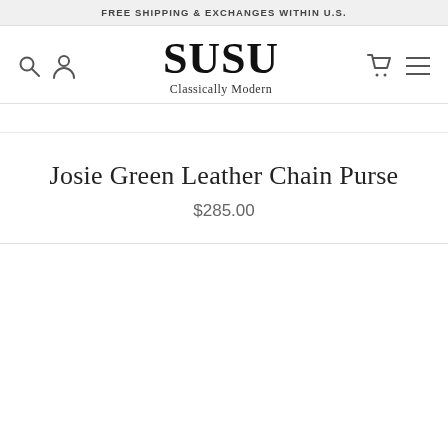FREE SHIPPING & EXCHANGES WITHIN U.S.
[Figure (logo): SUSU Classically Modern logo — serif brand name with tagline]
Josie Green Leather Chain Purse
$285.00